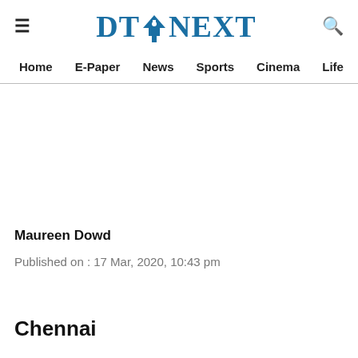DT NEXT — Home, E-Paper, News, Sports, Cinema, Life
Maureen Dowd
Published on : 17 Mar, 2020, 10:43 pm
Chennai